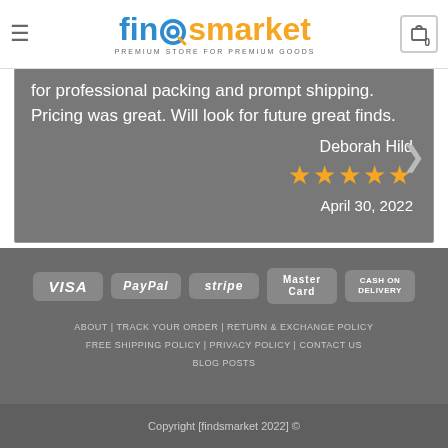[Figure (logo): FindsMarket logo with shopping cart icon, tagline PREMIUM STORE FOR PREMIUM GOODS]
for professional packing and prompt shipping. Pricing was great. Will look for future great finds.
Deborah Hild
★★★★★
April 30, 2022
[Figure (infographic): Payment method badges: VISA, PayPal, stripe, MasterCard, CASH ON DELIVERY]
ABOUT | TRACK YOUR ORDER | RETURN & EXCHANGE POLICY | FREE SHIPPING POLICY | PRIVACY POLICY | CONTACT US | BLOG POSTS
Copyright [findsmarket 2022] ©